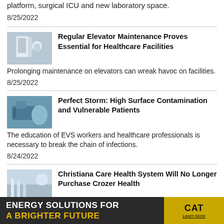platform, surgical ICU and new laboratory space.
8/25/2022
[Figure (photo): Healthcare worker near elevator equipment]
Regular Elevator Maintenance Proves Essential for Healthcare Facilities
Prolonging maintenance on elevators can wreak havoc on facilities.
8/25/2022
[Figure (photo): Healthcare worker in blue scrubs cleaning a surface]
Perfect Storm: High Surface Contamination and Vulnerable Patients
The education of EVS workers and healthcare professionals is necessary to break the chain of infections.
8/24/2022
[Figure (photo): Hospital corridor with people walking]
Christiana Care Health System Will No Longer Purchase Crozer Health
Changing economic landscape impacted the ability to move
[Figure (infographic): CAT Energy Solutions advertisement banner: ENERGY SOLUTIONS FOR A BRIGHTER FUTURE]